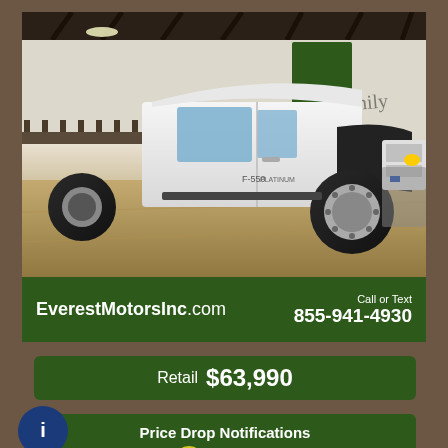[Figure (photo): White Ford F-550 or similar heavy duty flatbed/stake truck parked inside a dealership warehouse with polished concrete floor and metal roof structure visible. A green and yellow John Deere banner is visible in the background.]
EverestMotorsInc.com
Call or Text 855-941-4930
Retail $63,990
Price Drop Notifications
Text Us